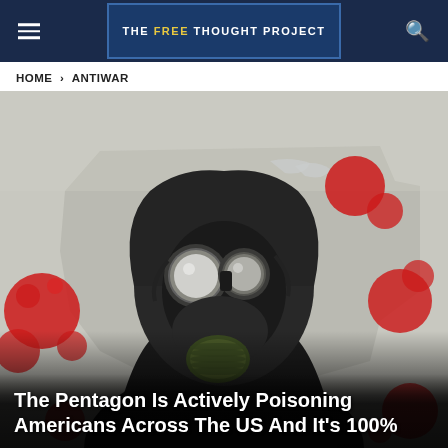THE FREE THOUGHT PROJECT
HOME > ANTIWAR
[Figure (photo): Person wearing a dark hooded hazmat suit and gas mask, standing in front of a map of the United States with red circles/dots overlaid, suggesting contamination or chemical threat.]
The Pentagon Is Actively Poisoning Americans Across The US And It's 100%